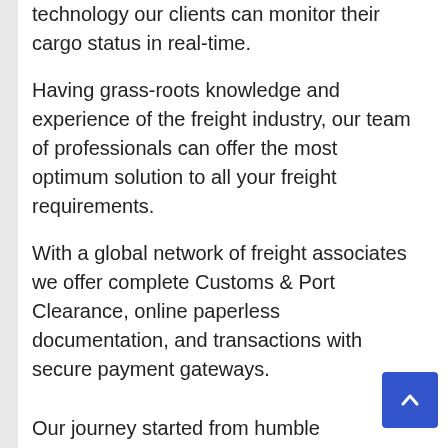technology our clients can monitor their cargo status in real-time.
Having grass-roots knowledge and experience of the freight industry, our team of professionals can offer the most optimum solution to all your freight requirements.
With a global network of freight associates we offer complete Customs & Port Clearance, online paperless documentation, and transactions with secure payment gateways.
Our journey started from humble beginnings, as a cargo clearing company, with decades of dedicated services we have established ourselves as a trusted and reliable logistics associate in Dubai.
We offer multi-modal solutions for freight